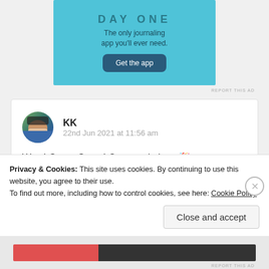[Figure (screenshot): Day One journaling app advertisement banner with light blue background, showing tagline 'The only journaling app you'll ever need.' and a 'Get the app' button]
REPORT THIS AD
[Figure (photo): User avatar photo of a man with sunglasses and beard outdoors]
KK
22nd Jun 2021 at 11:56 am
Wow! Great, Suma! Congratulations 🎉 you
deserve it. Your artwork is really superb. My sisters...
Privacy & Cookies: This site uses cookies. By continuing to use this website, you agree to their use.
To find out more, including how to control cookies, see here: Cookie Policy
Close and accept